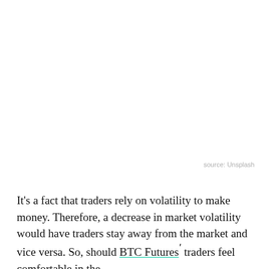[Figure (photo): Blank white image area with source credit to Unsplash]
source: Unsplash
It’s a fact that traders rely on volatility to make money. Therefore, a decrease in market volatility would have traders stay away from the market and vice versa. So, should BTC Futuresʹ traders feel comfortable in the current market conditions at press time? Let’s see...